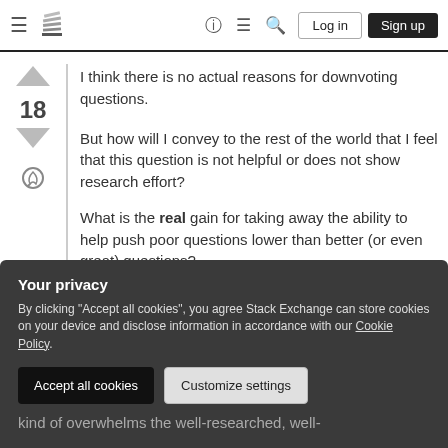Stack Exchange navigation bar with hamburger menu, logo, help, chat, search icons, Log in and Sign up buttons
I think there is no actual reasons for downvoting questions.
But how will I convey to the rest of the world that I feel that this question is not helpful or does not show research effort?

What is the real gain for taking away the ability to help push poor questions lower than better (or even great) questions?
Your privacy
By clicking "Accept all cookies", you agree Stack Exchange can store cookies on your device and disclose information in accordance with our Cookie Policy.
Accept all cookies   Customize settings
kind of overwhelms the well-researched, well-